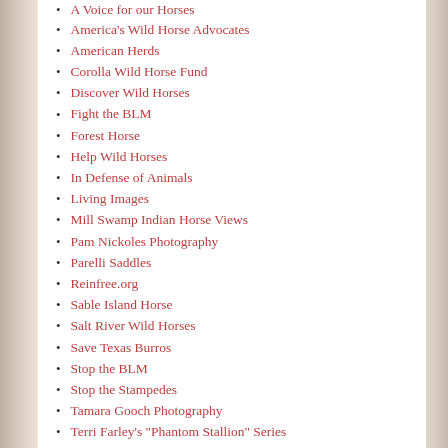A Voice for our Horses
America's Wild Horse Advocates
American Herds
Corolla Wild Horse Fund
Discover Wild Horses
Fight the BLM
Forest Horse
Help Wild Horses
In Defense of Animals
Living Images
Mill Swamp Indian Horse Views
Pam Nickoles Photography
Parelli Saddles
Reinfree.org
Sable Island Horse
Salt River Wild Horses
Save Texas Burros
Stop the BLM
Stop the Stampedes
Tamara Gooch Photography
Terri Farley's "Phantom Stallion" Series
The American Wild Horse
The Cloud Foundation